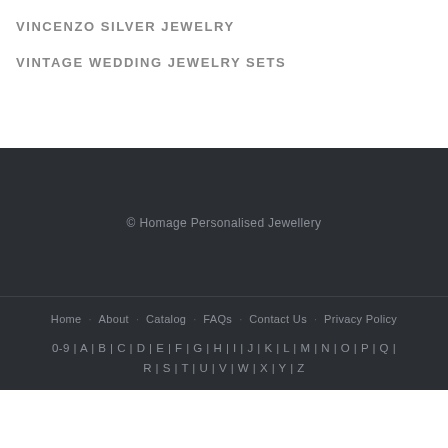VINCENZO SILVER JEWELRY
VINTAGE WEDDING JEWELRY SETS
© Homage Personalised Jewellery
Home   About   Catalog   FAQs   Contact Us   Privacy Policy
0-9 | A | B | C | D | E | F | G | H | I | J | K | L | M | N | O | P | Q | R | S | T | U | V | W | X | Y | Z